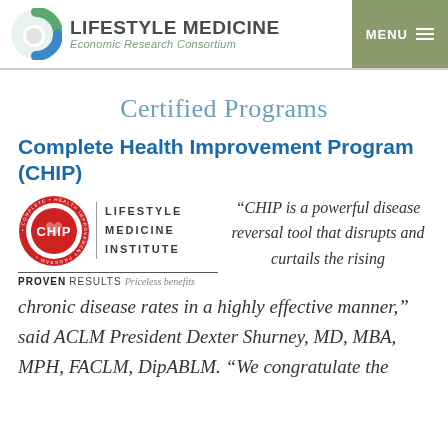LIFESTYLE MEDICINE Economic Research Consortium | MENU
Certified Programs
Complete Health Improvement Program (CHIP)
[Figure (logo): CHIP circular badge logo with 'COMPLETE HEALTH IMPROVEMENT PROGRAM' text and heart icon, next to 'LIFESTYLE MEDICINE INSTITUTE' text; below: PROVEN RESULTS Priceless benefits]
“CHIP is a powerful disease reversal tool that disrupts and curtails the rising chronic disease rates in a highly effective manner,” said ACLM President Dexter Shurney, MD, MBA, MPH, FACLM, DipABLM. “We congratulate the